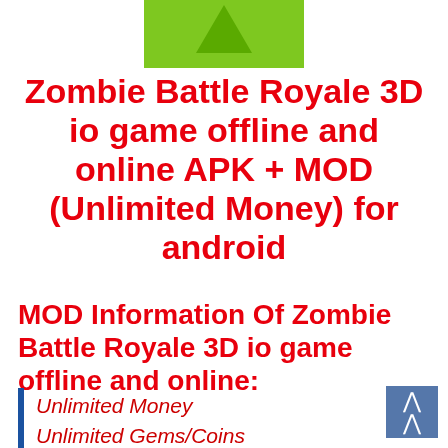[Figure (illustration): Green app icon with a triangle/arrow shape at the top center of the page]
Zombie Battle Royale 3D io game offline and online APK + MOD (Unlimited Money) for android
MOD Information Of Zombie Battle Royale 3D io game offline and online:
Unlimited Money
Unlimited Gems/Coins